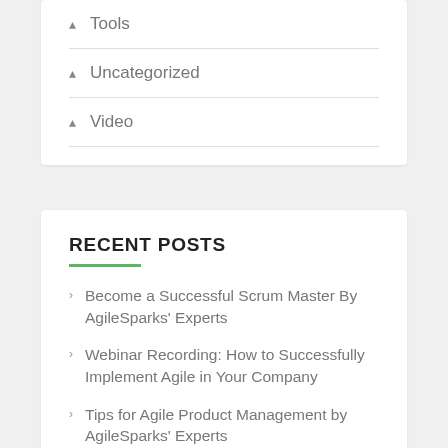Tools
Uncategorized
Video
RECENT POSTS
Become a Successful Scrum Master By AgileSparks' Experts
Webinar Recording: How to Successfully Implement Agile in Your Company
Tips for Agile Product Management by AgileSparks' Experts